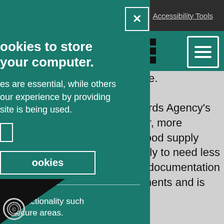Accessibility Tools
[Figure (screenshot): Teal navigation bar with grid icon and hamburger menu icon]
ookies to store your computer.
es are essential, while others our experience by providing site is being used.
ookies
core functionality such to secure areas.
trease. andards Agency's mpler, more the food supply e likely to need less sser documentation uirements and is ness. Business pack has various different aterers, retailers and e preparation of